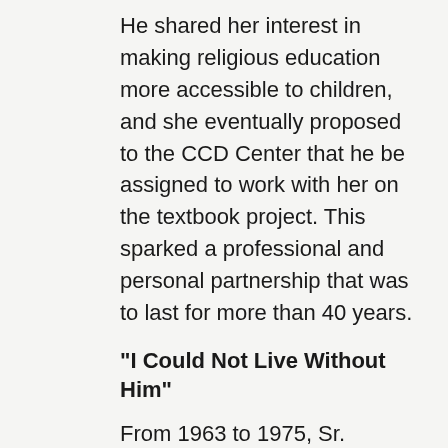He shared her interest in making religious education more accessible to children, and she eventually proposed to the CCD Center that he be assigned to work with her on the textbook project. This sparked a professional and personal partnership that was to last for more than 40 years.
“I Could Not Live Without Him”
From 1963 to 1975, Sr. Manternach and Fr. Pfeifer were co-assistant directors of the CCD Center, where they not only authored the Life, Love, Joy textbook series but also represented the Center to diocesan directors nationwide; consulted for various Church religious